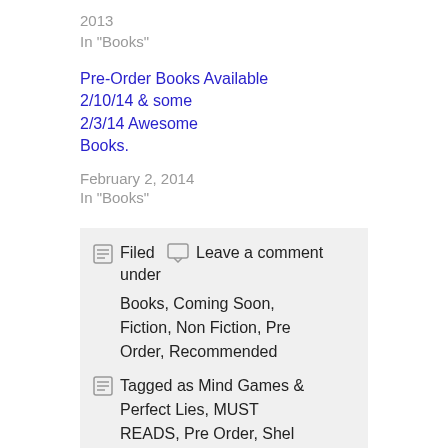2013
In "Books"
Pre-Order Books Available 2/10/14 & some 2/3/14 Awesome Books.
February 2, 2014
In "Books"
Filed  Leave a comment under
Books, Coming Soon, Fiction, Non Fiction, Pre Order, Recommended
Tagged as Mind Games & Perfect Lies, MUST READS, Pre Order, Shel